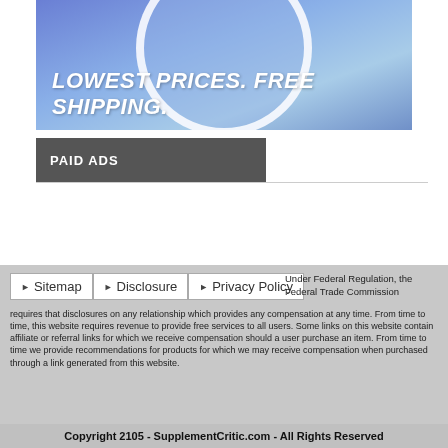[Figure (photo): Advertisement banner with blue gradient background, circular graphic, and bold white italic text reading LOWEST PRICES. FREE SHIPPING.]
PAID ADS
Under Federal Regulation, the Federal Trade Commission requires that disclosures on any relationship which provides any compensation at any time. From time to time, this website requires revenue to provide free services to all users. Some links on this website contain affiliate or referral links for which we receive compensation should a user purchase an item. From time to time we provide recommendations for products for which we may receive compensation when purchased through a link generated from this website.
Copyright 2105 - SupplementCritic.com - All Rights Reserved